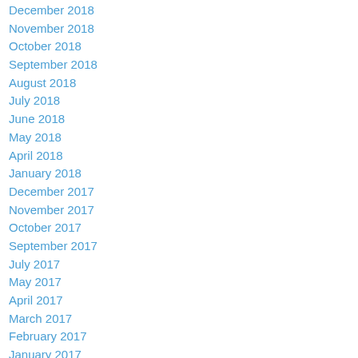December 2018
November 2018
October 2018
September 2018
August 2018
July 2018
June 2018
May 2018
April 2018
January 2018
December 2017
November 2017
October 2017
September 2017
July 2017
May 2017
April 2017
March 2017
February 2017
January 2017